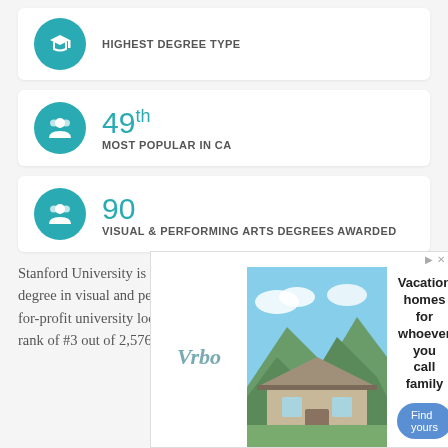HIGHEST DEGREE TYPE
49th MOST POPULAR IN CA
90 VISUAL & PERFORMING ARTS DEGREES AWARDED
Stanford University is a great decision for students interested in a degree in visual and performing arts. Stanford is a large private not-for-profit university located in the suburb of Stanford. A Best Schools rank of #3 out of 2,576 schools nationwide means Stanford is a great
[Figure (infographic): VRBO advertisement showing vacation home with mountain background, Vacation homes for whoever you call family, Find yours button]